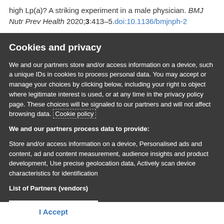high Lp(a)? A striking experiment in a male physician. BMJ Nutr Prev Health 2020;3:413–5.doi:10.1136/bmjnph-2
Cookies and privacy
We and our partners store and/or access information on a device, such a unique IDs in cookies to process personal data. You may accept or manage your choices by clicking below, including your right to object where legitimate interest is used, or at any time in the privacy policy page. These choices will be signaled to our partners and will not affect browsing data. Cookie policy
We and our partners process data to provide:
Store and/or access information on a device, Personalised ads and content, ad and content measurement, audience insights and product development, Use precise geolocation data, Actively scan device characteristics for identification
List of Partners (vendors)
I Accept